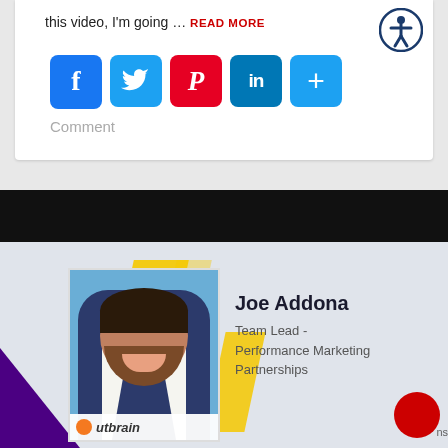this video, I'm going … READ MORE
[Figure (screenshot): Social media share buttons: Facebook (blue), Twitter (blue), Pinterest (red), LinkedIn (blue), More (blue plus)]
Comment
[Figure (photo): Profile card showing Joe Addona, Team Lead - Performance Marketing Partnerships at Outbrain. Man with dark beard in a suit, blue background, yellow chevron design elements, purple triangle lower left, Outbrain logo.]
Joe Addona
Team Lead - Performance Marketing Partnerships